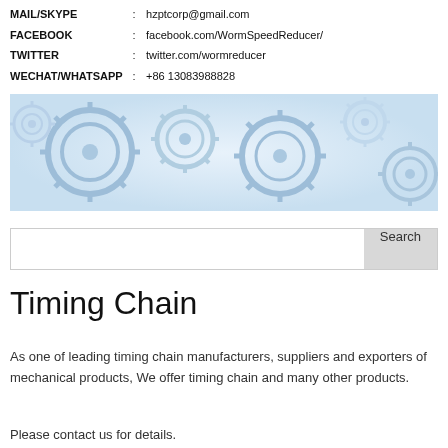MAIL/SKYPE : hzptcorp@gmail.com
FACEBOOK : facebook.com/WormSpeedReducer/
TWITTER : twitter.com/wormreducer
WECHAT/WHATSAPP : +86 13083988828
[Figure (illustration): Decorative banner image of blue and white interlocking gear wheels on a light background]
Search
Timing Chain
As one of leading timing chain manufacturers, suppliers and exporters of mechanical products, We offer timing chain and many other products.
Please contact us for details.